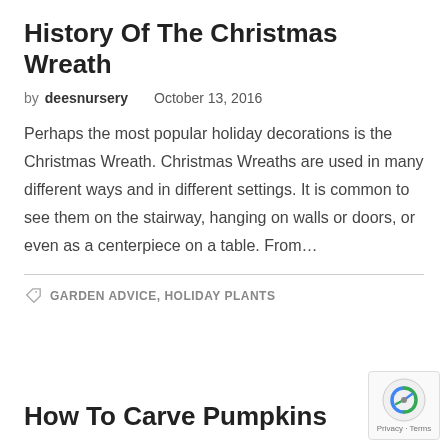History Of The Christmas Wreath
by deesnursery    October 13, 2016
Perhaps the most popular holiday decorations is the Christmas Wreath. Christmas Wreaths are used in many different ways and in different settings. It is common to see them on the stairway, hanging on walls or doors, or even as a centerpiece on a table. From…
GARDEN ADVICE, HOLIDAY PLANTS
How To Carve Pumpkins